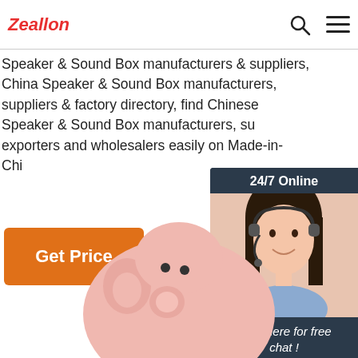Zeallon
Speaker & Sound Box manufacturers & suppliers, China Speaker & Sound Box manufacturers, suppliers & factory directory, find Chinese Speaker & Sound Box manufacturers, suppliers, exporters and wholesalers easily on Made-in-China.
Get Price
[Figure (photo): 24/7 Online chat widget showing a smiling woman with headset, with 'Click here for free chat!' text and QUOTATION button]
[Figure (photo): Pink pig-shaped earphone or speaker product photo at bottom of page]